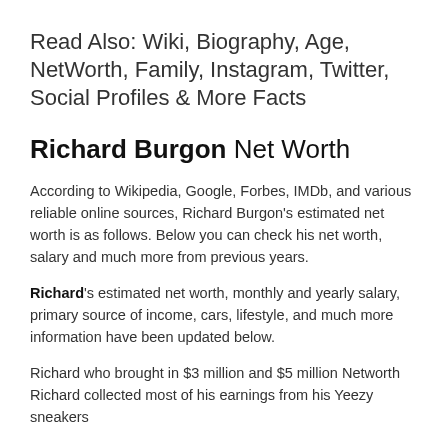Read Also: Wiki, Biography, Age, NetWorth, Family, Instagram, Twitter, Social Profiles & More Facts
Richard Burgon Net Worth
According to Wikipedia, Google, Forbes, IMDb, and various reliable online sources, Richard Burgon's estimated net worth is as follows. Below you can check his net worth, salary and much more from previous years.
Richard's estimated net worth, monthly and yearly salary, primary source of income, cars, lifestyle, and much more information have been updated below.
Richard who brought in $3 million and $5 million Networth Richard collected most of his earnings from his Yeezy sneakers